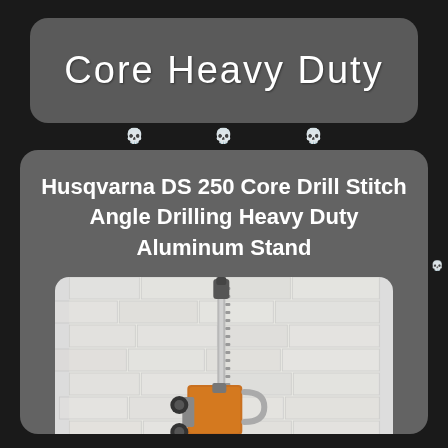Core Heavy Duty
[Figure (logo): Core Heavy Duty logo in white handwritten/chalk-style font on dark gray rounded rectangle banner]
Husqvarna DS 250 Core Drill Stitch Angle Drilling Heavy Duty Aluminum Stand
[Figure (photo): Photo of a Husqvarna DS 250 core drill stand — a tall aluminum stand with vertical rack, orange and silver drill motor carriage with handle and knobs, photographed against a white brick wall background]